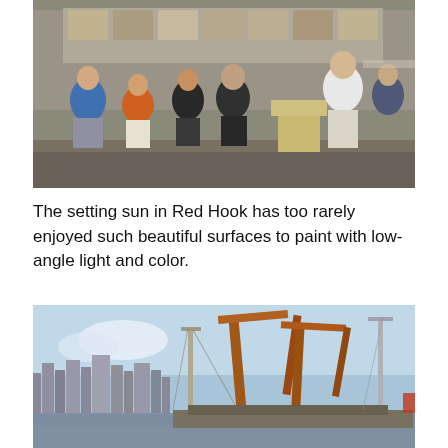[Figure (photo): Group of people standing outdoors at what appears to be an event in Red Hook. A person in a white shirt stands at a wooden podium on the right. Others including a woman in an orange top and a man in a blue shirt stand to the left. Background shows an industrial or outdoor event setting.]
The setting sun in Red Hook has too rarely enjoyed such beautiful surfaces to paint with low-angle light and color.
[Figure (photo): Industrial waterfront scene showing large orange/rust-colored cranes and masts against a blue sky. City skyline visible in the background on the left side.]